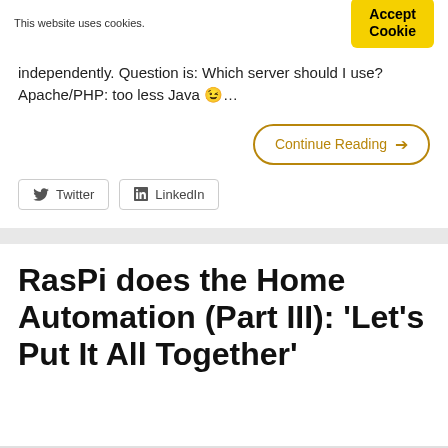This website uses cookies.
Accept Cookie
independently. Question is: Which server should I use? Apache/PHP: too less Java 😉…
Continue Reading →
Twitter
LinkedIn
RasPi does the Home Automation (Part III): 'Let's Put It All Together'